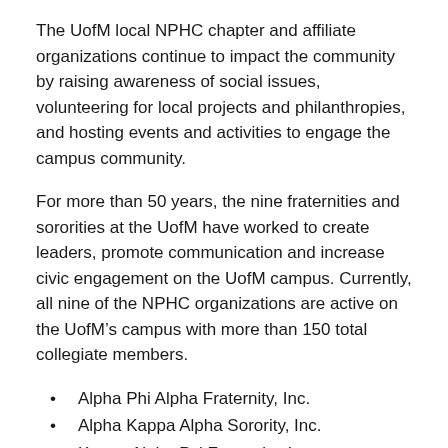The UofM local NPHC chapter and affiliate organizations continue to impact the community by raising awareness of social issues, volunteering for local projects and philanthropies, and hosting events and activities to engage the campus community.
For more than 50 years, the nine fraternities and sororities at the UofM have worked to create leaders, promote communication and increase civic engagement on the UofM campus. Currently, all nine of the NPHC organizations are active on the UofM’s campus with more than 150 total collegiate members.
Alpha Phi Alpha Fraternity, Inc.
Alpha Kappa Alpha Sorority, Inc.
Kappa Alpha Psi Fraternity, Inc.
Omega Psi Phi Fraternity, Inc.
Delta Sigma Theta Sorority, Inc.
Phi Beta Sigma Fraternity, Inc.
Zeta Phi Beta Sorority, Inc.